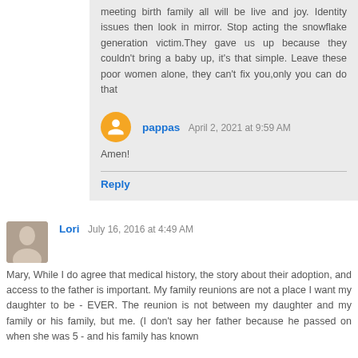meeting birth family all will be live and joy. Identity issues then look in mirror. Stop acting the snowflake generation victim.They gave us up because they couldn't bring a baby up, it's that simple. Leave these poor women alone, they can't fix you,only you can do that
pappas  April 2, 2021 at 9:59 AM
Amen!
Reply
Lori  July 16, 2016 at 4:49 AM
Mary, While I do agree that medical history, the story about their adoption, and access to the father is important. My family reunions are not a place I want my daughter to be - EVER. The reunion is not between my daughter and my family or his family, but me. (I don't say her father because he passed on when she was 5 - and his family has known